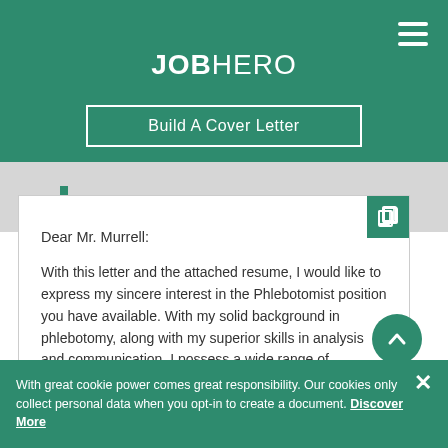JOBHERO
Build A Cover Letter
Dear Mr. Murrell:

With this letter and the attached resume, I would like to express my sincere interest in the Phlebotomist position you have available. With my solid background in phlebotomy, along with my superior skills in analysis and communication, I possess a wide range of knowledge and experience that will allow me to contribute toward the success of your team.
With great cookie power comes great responsibility. Our cookies only collect personal data when you opt-in to create a document. Discover More